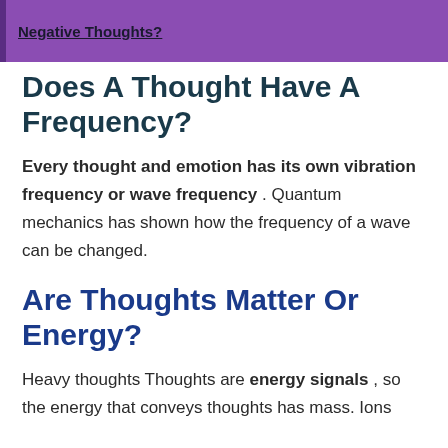Negative Thoughts?
Does A Thought Have A Frequency?
Every thought and emotion has its own vibration frequency or wave frequency . Quantum mechanics has shown how the frequency of a wave can be changed.
Are Thoughts Matter Or Energy?
Heavy thoughts Thoughts are energy signals , so the energy that conveys thoughts has mass. Ions